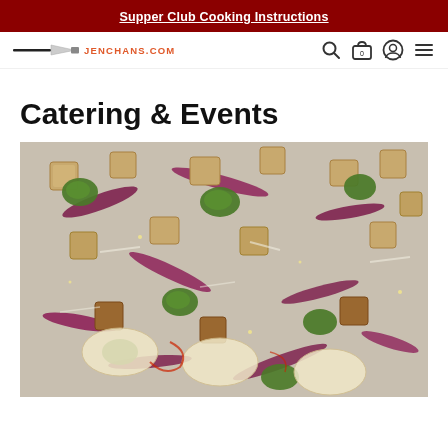Supper Club Cooking Instructions
[Figure (logo): Jenchans.com logo with knife graphic and site name in orange text, plus navigation icons (search, cart with 0, account, menu)]
Catering & Events
[Figure (photo): Close-up overhead photo of a sheet pan with taco/appetizer bites topped with green sauce, red cabbage, and cubed tofu or protein pieces]